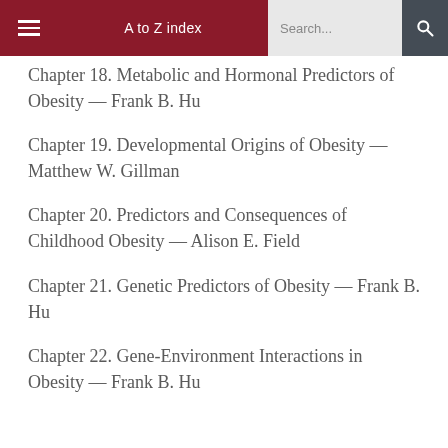A to Z index  Search...
Chapter 18. Metabolic and Hormonal Predictors of Obesity — Frank B. Hu
Chapter 19. Developmental Origins of Obesity — Matthew W. Gillman
Chapter 20. Predictors and Consequences of Childhood Obesity — Alison E. Field
Chapter 21. Genetic Predictors of Obesity — Frank B. Hu
Chapter 22. Gene-Environment Interactions in Obesity — Frank B. Hu